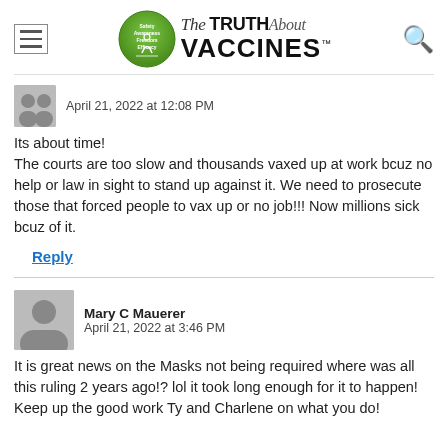[Figure (logo): The Truth About Vaccines logo with green circle emblem]
April 21, 2022 at 12:08 PM
Its about time! The courts are too slow and thousands vaxed up at work bcuz no help or law in sight to stand up against it. We need to prosecute those that forced people to vax up or no job!!! Now millions sick bcuz of it.
Reply
Mary C Mauerer
April 21, 2022 at 3:46 PM
It is great news on the Masks not being required where was all this ruling 2 years ago!? lol it took long enough for it to happen!
Keep up the good work Ty and Charlene on what you do!